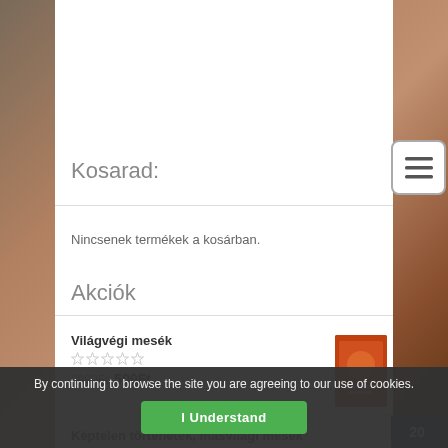Kosarad:
Nincsenek termékek a kosárban.
Akciók
Világvégi mesék
☆☆☆☆☆
2990Ft 500Ft
Képtelen történetek, másvilági mesék
By continuing to browse the site you are agreeing to our use of cookies.
I Understand